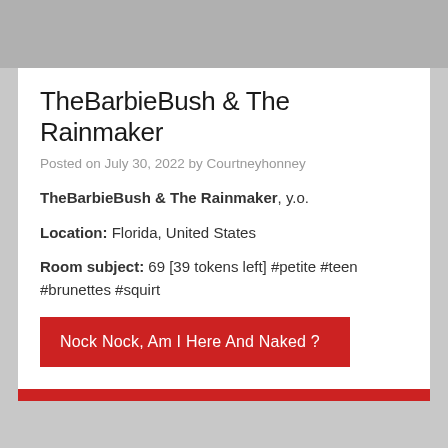[Figure (photo): Gray banner image area at top]
TheBarbieBush & The Rainmaker
Posted on July 30, 2022 by Courtneyhonney
TheBarbieBush & The Rainmaker, y.o.
Location: Florida, United States
Room subject: 69 [39 tokens left] #petite #teen #brunettes #squirt
Nock Nock, Am I Here And Naked ?